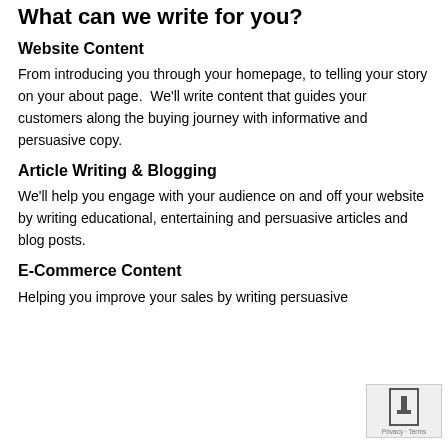What can we write for you?
Website Content
From introducing you through your homepage, to telling your story on your about page.  We'll write content that guides your customers along the buying journey with informative and persuasive copy.
Article Writing & Blogging
We'll help you engage with your audience on and off your website by writing educational, entertaining and persuasive articles and blog posts.
E-Commerce Content
Helping you improve your sales by writing persuasive